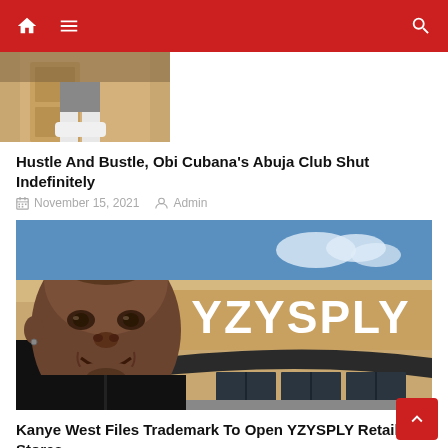Navigation bar with home, menu, and search icons
[Figure (photo): Partial photo of a person in white shoes/outfit, cropped at top]
Hustle And Bustle, Obi Cubana's Abuja Club Shut Indefinitely
November 15, 2021   Admin
[Figure (photo): Kanye West smiling in front of a store sign reading YZYSPLY]
Kanye West Files Trademark To Open YZYSPLY Retail Stores
July 11, 2022   Admin